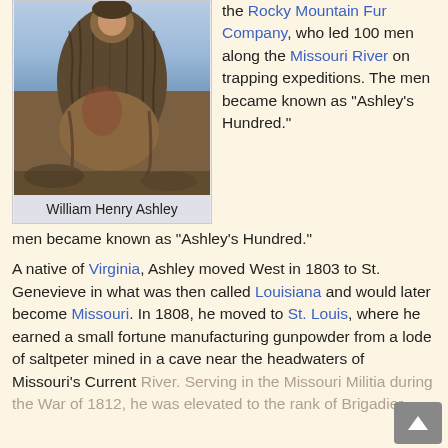[Figure (illustration): Painting of William Henry Ashley, a man in frontier/fur trader attire with heavy fur clothing, depicted in a naturalistic outdoor scene with muted earth tones and blue sky background.]
William Henry Ashley
the Rocky Mountain Fur Company, who led 100 men along the Missouri River on trapping expeditions. The men became known as “Ashley’s Hundred.”
A native of Virginia, Ashley moved West in 1803 to St. Genevieve in what was then called Louisiana and would later become Missouri. In 1808, he moved to St. Louis, where he earned a small fortune manufacturing gunpowder from a lode of saltpeter mined in a cave near the headwaters of Missouri’s Current River. Serving in the Missouri Militia during the War of 1812, he was elevated to the rank of Brigadier